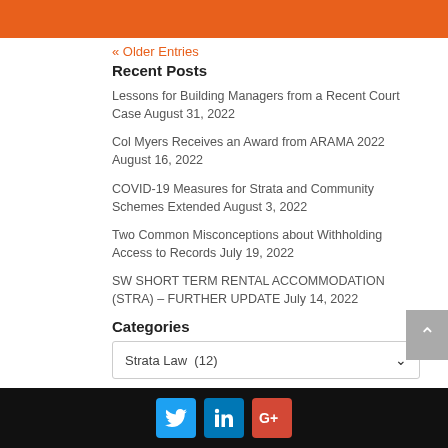[Figure (other): Orange header bar at top of page]
« Older Entries
Recent Posts
Lessons for Building Managers from a Recent Court Case August 31, 2022
Col Myers Receives an Award from ARAMA 2022 August 16, 2022
COVID-19 Measures for Strata and Community Schemes Extended August 3, 2022
Two Common Misconceptions about Withholding Access to Records July 19, 2022
SW SHORT TERM RENTAL ACCOMMODATION (STRA) – FURTHER UPDATE July 14, 2022
Categories
Strata Law  (12)
Social media icons: Twitter, LinkedIn, Google+